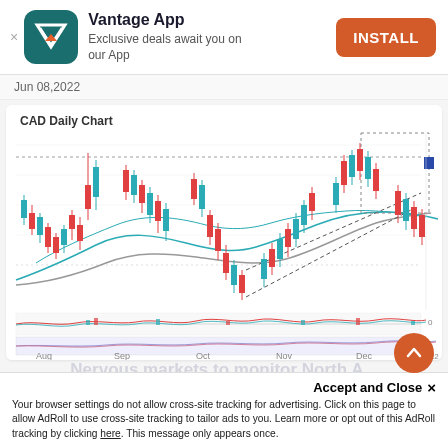[Figure (infographic): Vantage App install banner with teal app icon showing V logo, app name, description, and orange INSTALL button]
Jun 08, 2022
[Figure (continuous-plot): CAD Daily Chart candlestick chart with teal and red candles, moving average lines, dotted trend channel pattern, oscillator panels below. X-axis labels: Aug, Sep, Oct, Nov, Dec, 2022. Shows price trend with rising wedge/channel pattern marked by dotted lines.]
Nervous markets to monitor North A...
Accept and Close ×
Your browser settings do not allow cross-site tracking for advertising. Click on this page to allow AdRoll to use cross-site tracking to tailor ads to you. Learn more or opt out of this AdRoll tracking by clicking here. This message only appears once.